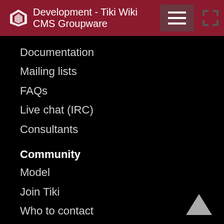Development - Tiki Wiki CMS Groupware
Documentation
Mailing lists
FAQs
Live chat (IRC)
Consultants
Community
Model
Join Tiki
Who to contact
Feature request
Bug report
Roadmap
Featured Tikis
IRC chat
Events
Videos